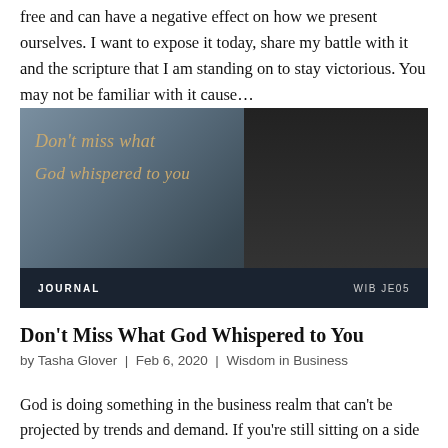free and can have a negative effect on how we present ourselves. I want to expose it today, share my battle with it and the scripture that I am standing on to stay victorious. You may not be familiar with it cause…
[Figure (photo): Journal product image with cursive script text reading 'Don't miss what God whispered to you' on a dark blue/grey background with a figure holding a book. Bottom bar shows 'JOURNAL' label on left and 'WIB JE05' on right.]
Don't Miss What God Whispered to You
by Tasha Glover | Feb 6, 2020 | Wisdom in Business
God is doing something in the business realm that can't be projected by trends and demand. If you're still sitting on a side position for it to be proven, you…